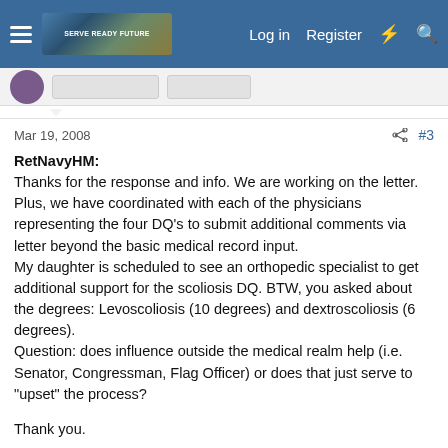Log in  Register
Mar 19, 2008   #3
RetNavyHM:
Thanks for the response and info. We are working on the letter. Plus, we have coordinated with each of the physicians representing the four DQ's to submit additional comments via letter beyond the basic medical record input.
My daughter is scheduled to see an orthopedic specialist to get additional support for the scoliosis DQ. BTW, you asked about the degrees: Levoscoliosis (10 degrees) and dextroscoliosis (6 degrees).
Question: does influence outside the medical realm help (i.e. Senator, Congressman, Flag Officer) or does that just serve to "upset" the process?

Thank you.